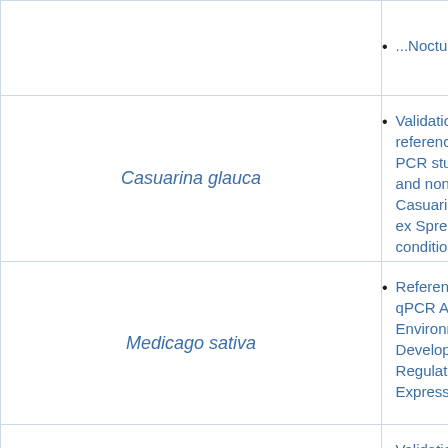| (empty) | Species | Links |
| --- | --- | --- |
|  |  | ...Noctuidae) |
|  | Casuarina glauca | Validation of candidate reference genes for PCR studies in symbiotic and non-symbiotic Casuarina glauca S ex Spreng. under saline conditions |
|  | Medicago sativa | Reference Genes for qPCR Analysis of Environmentally and Developmentally Regulated Gene Expression in Alfalfa |
|  | Buglossoides arvensis | Validation of endogenous reference genes in Buglossoides arvensis for normalizing RT-qPCR-based gene |